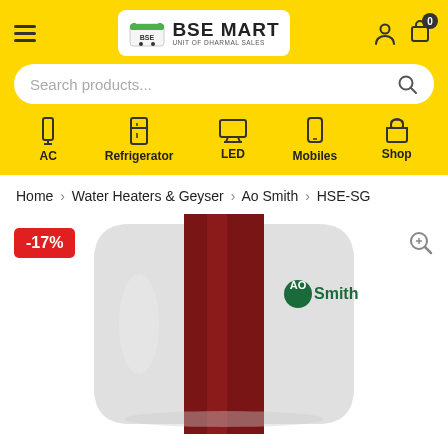[Figure (screenshot): BSE Mart e-commerce website header with yellow background, hamburger menu, BSE Mart logo, user and cart icons, search bar, and category navigation icons (AC, Refrigerator, LED, Mobiles, Shop)]
Home > Water Heaters & Geyser > Ao Smith > HSE-SG
[Figure (photo): AO Smith water heater/geyser product image showing a white and dark red appliance with AO Smith branding, with a -17% discount badge in the top left corner]